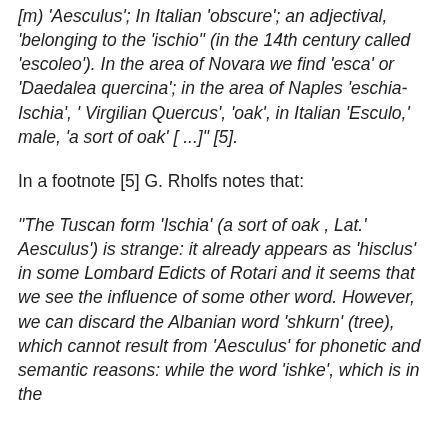[m) 'Aesculus'; In Italian 'obscure'; an adjectival, 'belonging to the 'ischio" (in the 14th century called 'escoleo'). In the area of Novara we find 'esca' or 'Daedalea quercina'; in the area of Naples 'eschia-Ischia', ' Virgilian Quercus', 'oak', in Italian 'Esculo,' male, 'a sort of oak' [ ...]" [5].
In a footnote [5] G. Rholfs notes that:
"The Tuscan form 'Ischia' (a sort of oak , Lat.' Aesculus') is strange: it already appears as 'hisclus' in some Lombard Edicts of Rotari and it seems that we see the influence of some other word. However, we can discard the Albanian word 'shkurn' (tree), which cannot result from 'Aesculus' for phonetic and semantic reasons: while the word 'ishke', which is in the